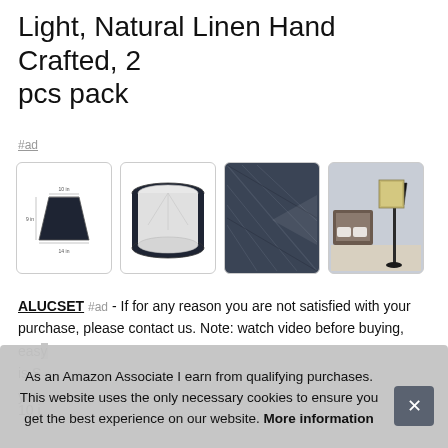Light, Natural Linen Hand Crafted, 2 pcs pack
#ad
[Figure (photo): Four product images of a navy/dark blue linen lamp shade: 1) technical diagram with dimensions, 2) cylindrical inside view, 3) close-up of fabric texture, 4) room scene with floor lamp]
ALUCSET #ad - If for any reason you are not satisfied with your purchase, please contact us. Note: watch video before buying, easy to install. is S you
10 i table lamp or floor lamp with lamp base not included
As an Amazon Associate I earn from qualifying purchases. This website uses the only necessary cookies to ensure you get the best experience on our website. More information